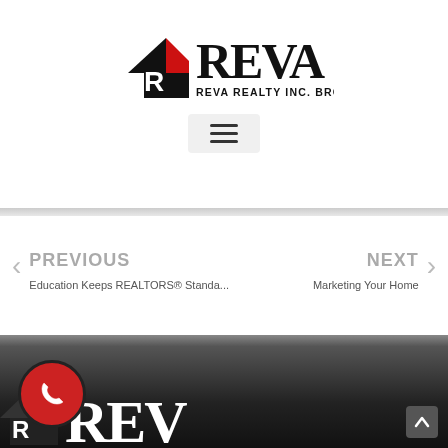[Figure (logo): REVA Realty Inc. Brokerage logo with black house silhouette and red roof accent, bold REVA text to the right, and REVA REALTY INC. BROKERAGE below]
[Figure (other): Hamburger menu icon (three horizontal lines) inside a light gray rounded rectangle]
PREVIOUS
Education Keeps REALTORS® Standa...
NEXT
Marketing Your Home
[Figure (other): Red circular phone/call button with white telephone handset icon and black border]
[Figure (logo): Footer area with dark background showing partial REVA Realty logo (house silhouette with red accent) and partial REVA text in white]
[Figure (other): Small dark gray scroll-to-top button with upward arrow in bottom right corner]